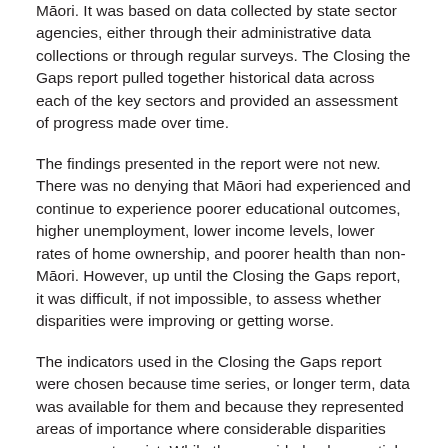Māori. It was based on data collected by state sector agencies, either through their administrative data collections or through regular surveys. The Closing the Gaps report pulled together historical data across each of the key sectors and provided an assessment of progress made over time.
The findings presented in the report were not new. There was no denying that Māori had experienced and continue to experience poorer educational outcomes, higher unemployment, lower income levels, lower rates of home ownership, and poorer health than non-Māori. However, up until the Closing the Gaps report, it was difficult, if not impossible, to assess whether disparities were improving or getting worse.
The indicators used in the Closing the Gaps report were chosen because time series, or longer term, data was available for them and because they represented areas of importance where considerable disparities were seen to exist. While they provided only a partial picture of the social and economic position of Māori, a narrowing of disparities in these areas